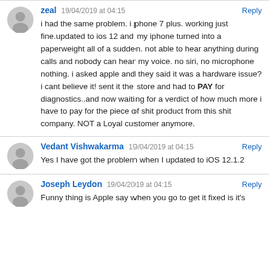[Figure (illustration): Gray circular avatar icon for user 'zeal']
zeal   19/04/2019 at 04:15   Reply
i had the same problem. i phone 7 plus. working just fine.updated to ios 12 and my iphone turned into a paperweight all of a sudden. not able to hear anything during calls and nobody can hear my voice. no siri, no microphone nothing. i asked apple and they said it was a hardware issue? i cant believe it! sent it the store and had to PAY for diagnostics..and now waiting for a verdict of how much more i have to pay for the piece of shit product from this shit company. NOT a Loyal customer anymore.
[Figure (illustration): Gray circular avatar icon for user 'Vedant Vishwakarma']
Vedant Vishwakarma   19/04/2019 at 04:15   Reply
Yes I have got the problem when I updated to iOS 12.1.2
[Figure (illustration): Gray circular avatar icon for user 'Joseph Leydon']
Joseph Leydon   19/04/2019 at 04:15   Reply
Funny thing is Apple say when you go to get it fixed is it's